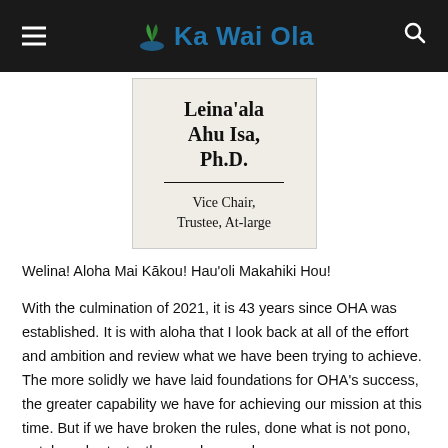Ka Wai Ola
[Figure (other): Name card for Leina'ala Ahu Isa, Ph.D., Vice Chair, Trustee, At-large]
Welina! Aloha Mai Kākou! Hau'oli Makahiki Hou!
With the culmination of 2021, it is 43 years since OHA was established. It is with aloha that I look back at all of the effort and ambition and review what we have been trying to achieve. The more solidly we have laid foundations for OHA's success, the greater capability we have for achieving our mission at this time. But if we have broken the rules, done what is not pono, or taken shortcuts, then we have only